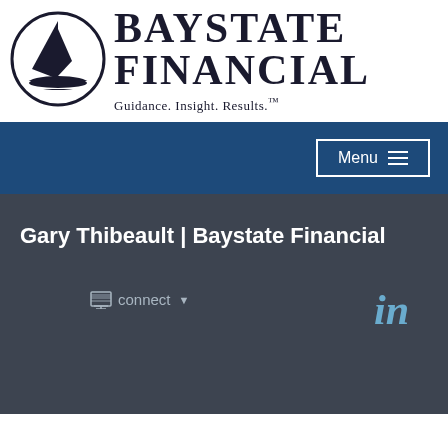[Figure (logo): Baystate Financial logo: circular emblem with sailboat graphic and company name 'BAYSTATE FINANCIAL' with tagline 'Guidance. Insight. Results.']
Gary Thibeault | Baystate Financial
connect
[Figure (logo): LinkedIn icon]
Print